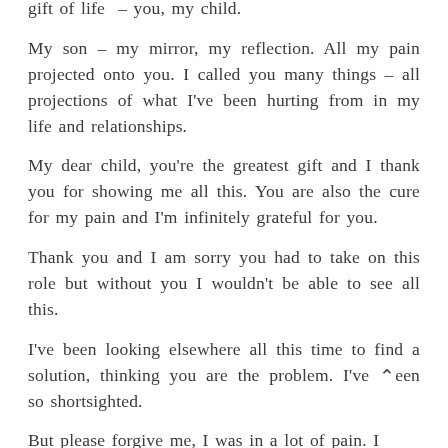gift of life – you, my child.
My son – my mirror, my reflection. All my pain projected onto you. I called you many things – all projections of what I've been hurting from in my life and relationships.
My dear child, you're the greatest gift and I thank you for showing me all this. You are also the cure for my pain and I'm infinitely grateful for you.
Thank you and I am sorry you had to take on this role but without you I wouldn't be able to see all this.
I've been looking elsewhere all this time to find a solution, thinking you are the problem. I've been so shortsighted.
But please forgive me, I was in a lot of pain. I